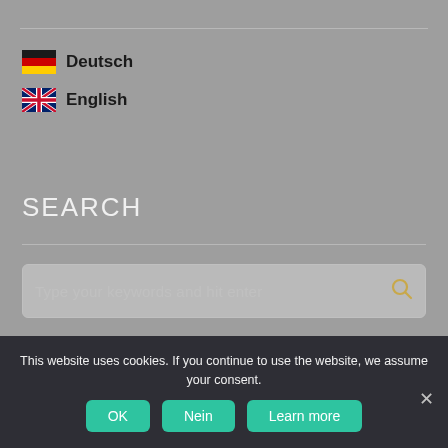🇩🇪 Deutsch
🇬🇧 English
SEARCH
Type your keywords and hit enter
This website uses cookies. If you continue to use the website, we assume your consent.
OK | Nein | Learn more